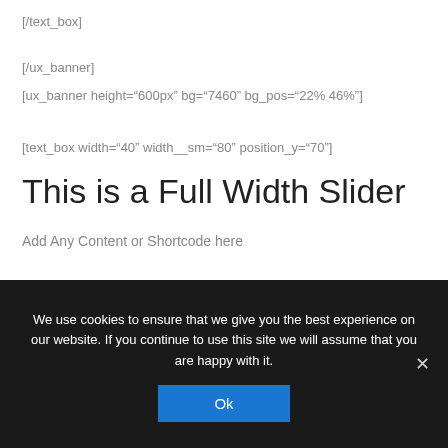[/text_box]
[/ux_banner]
[ux_banner height="600px" bg="7460" bg_pos="22% 46%"]
[text_box width="40" width__sm="80" position_y="70"]
This is a Full Width Slider
Add Any Content or Shortcode here
[button text="Click me" style="outline" radius="10"]
We use cookies to ensure that we give you the best experience on our website. If you continue to use this site we will assume that you are happy with it.
Ok